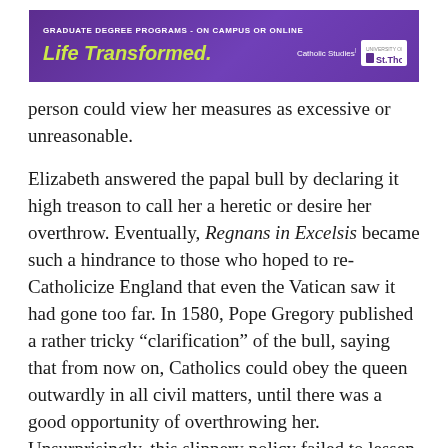[Figure (other): Advertisement banner for University of St. Thomas Graduate Degree Programs - On Campus or Online. Purple background with text 'GRADUATE DEGREE PROGRAMS - ON CAMPUS OR ONLINE', 'Life Transformed.' in yellow-green, and 'Catholic Studies | St. Thomas' logo on right.]
person could view her measures as excessive or unreasonable.
Elizabeth answered the papal bull by declaring it high treason to call her a heretic or desire her overthrow. Eventually, Regnans in Excelsis became such a hindrance to those who hoped to re-Catholicize England that even the Vatican saw it had gone too far. In 1580, Pope Gregory published a rather tricky “clarification” of the bull, saying that from now on, Catholics could obey the queen outwardly in all civil matters, until there was a good opportunity of overthrowing her. Unsurprisingly, this slippery policy failed to lessen Elizabeth’s growing suspicion that Catholic priests were foreign agents of a hostile power